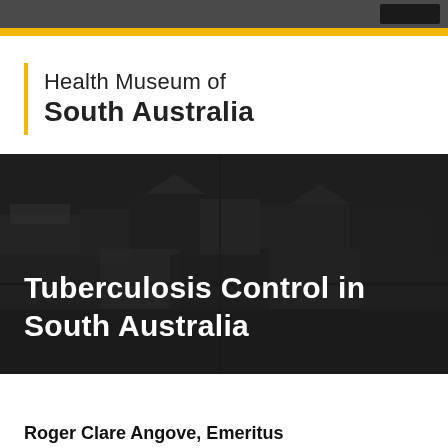Health Museum of South Australia
[Figure (photo): Aerial black-and-white photograph of a hospital or institutional complex with multiple buildings, overlaid with a dark translucent layer]
Tuberculosis Control in South Australia
Roger Clare Angove, Emeritus